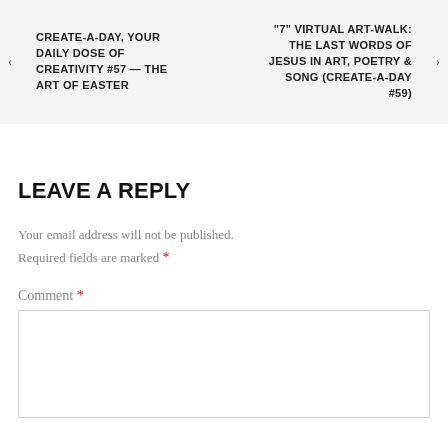CREATE-A-DAY, YOUR DAILY DOSE OF CREATIVITY #57 — THE ART OF EASTER
"7" VIRTUAL ART-WALK: THE LAST WORDS OF JESUS IN ART, POETRY & SONG (CREATE-A-DAY #59)
LEAVE A REPLY
Your email address will not be published. Required fields are marked *
Comment *